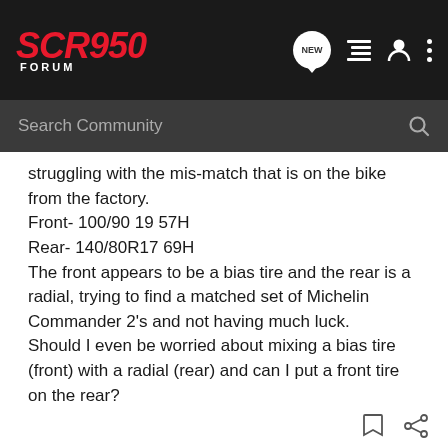[Figure (logo): SCR950 Forum logo in red italic text on dark background with navigation icons]
Search Community
struggling with the mis-match that is on the bike from the factory.
Front- 100/90 19 57H
Rear- 140/80R17 69H
The front appears to be a bias tire and the rear is a radial, trying to find a matched set of Michelin Commander 2's and not having much luck.
Should I even be worried about mixing a bias tire (front) with a radial (rear) and can I put a front tire on the rear?
Or should I be looking at another tire?
Strictly highway driving, and lots of it.
Any help would be appreciated.